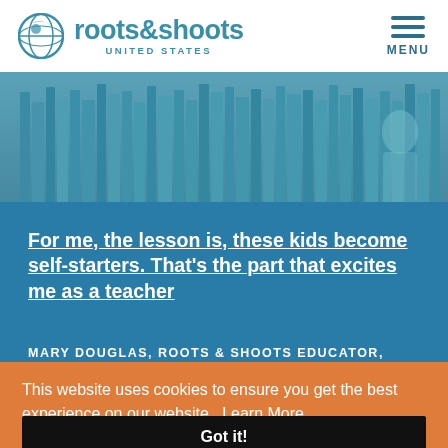[Figure (logo): Roots & Shoots United States logo with globe icon and teal text]
[Figure (photo): Blurred bookshelf background photo with teal/blue overlay]
For me, the lesson is, these kids become self-starters. That's the part that excites me as a teacher
MARY DOUGLAS, ROOTS & SHOOTS EDUCATOR, MARSHALL, MICHIGAN
This website uses cookies to ensure you get the best experience on our website.  Learn More
Got it!